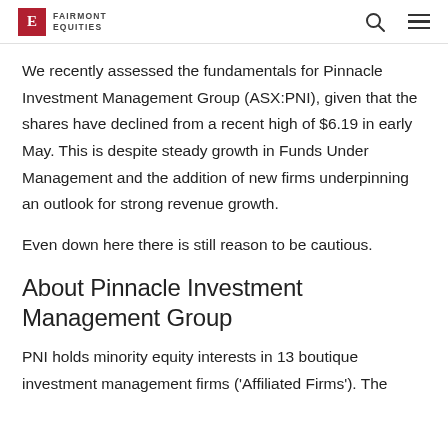FAIRMONT EQUITIES
We recently assessed the fundamentals for Pinnacle Investment Management Group (ASX:PNI), given that the shares have declined from a recent high of $6.19 in early May. This is despite steady growth in Funds Under Management and the addition of new firms underpinning an outlook for strong revenue growth.
Even down here there is still reason to be cautious.
About Pinnacle Investment Management Group
PNI holds minority equity interests in 13 boutique investment management firms ('Affiliated Firms'). The